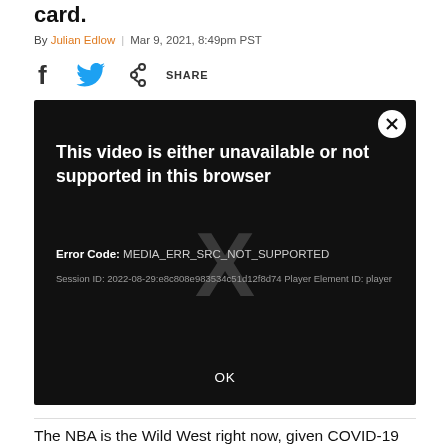card.
By Julian Edlow | Mar 9, 2021, 8:49pm PST
[Figure (screenshot): Video player error screenshot on dark background. Text reads: 'This video is either unavailable or not supported in this browser'. Error Code: MEDIA_ERR_SRC_NOT_SUPPORTED. Session ID: 2022-08-29:e8c808e983534c51d12f8d74 Player Element ID: player. OK button at bottom.]
The NBA is the Wild West right now, given COVID-19